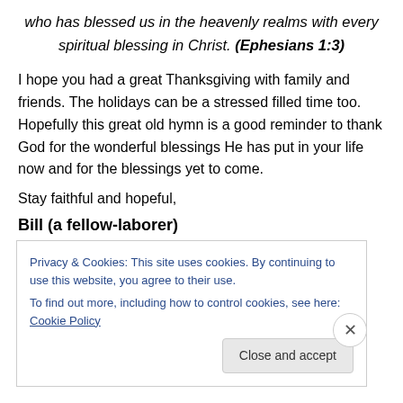who has blessed us in the heavenly realms with every spiritual blessing in Christ. (Ephesians 1:3)
I hope you had a great Thanksgiving with family and friends. The holidays can be a stressed filled time too. Hopefully this great old hymn is a good reminder to thank God for the wonderful blessings He has put in your life now and for the blessings yet to come.
Stay faithful and hopeful,
Bill (a fellow-laborer)
Privacy & Cookies: This site uses cookies. By continuing to use this website, you agree to their use.
To find out more, including how to control cookies, see here: Cookie Policy